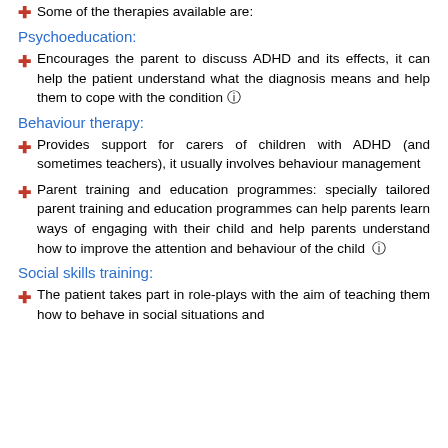Some of the therapies available are:
Psychoeducation:
Encourages the parent to discuss ADHD and its effects, it can help the patient understand what the diagnosis means and help them to cope with the condition 🛈
Behaviour therapy:
Provides support for carers of children with ADHD (and sometimes teachers), it usually involves behaviour management
Parent training and education programmes: specially tailored parent training and education programmes can help parents learn ways of engaging with their child and help parents understand how to improve the attention and behaviour of the child 🛈
Social skills training:
The patient takes part in role-plays with the aim of teaching them how to behave in social situations and…